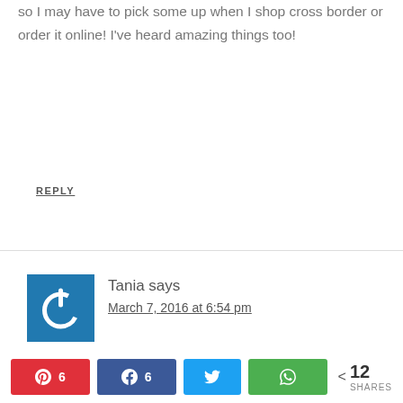so I may have to pick some up when I shop cross border or order it online! I've heard amazing things too!
REPLY
Tania says
March 7, 2016 at 6:54 pm
I've used rub n buff on drawer pulls too. I must have had the tube for about 8 years and it worked great!
6  6  12 SHARES